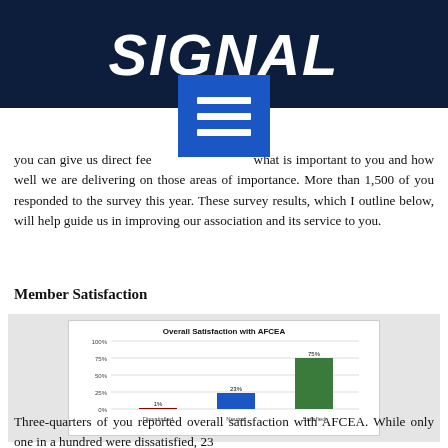SIGNAL
you can give us direct feedback on what is important to you and how well we are delivering on those areas of importance. More than 1,500 of you responded to the survey this year. These survey results, which I outline below, will help guide us in improving our association and its service to you.
Member Satisfaction
[Figure (bar-chart): Overall Satisfaction with AFCEA]
Three-quarters of you reported overall satisfaction with AFCEA. While only one in a hundred were dissatisfied, 23